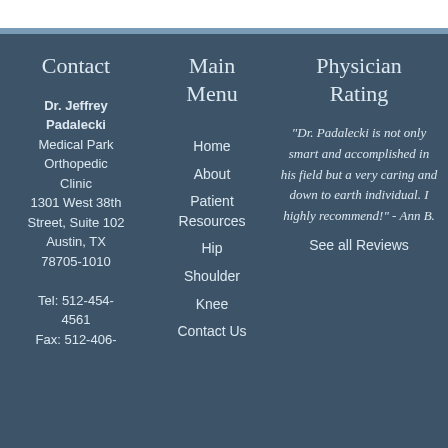Contact
Dr. Jeffrey Padalecki
Medical Park Orthopedic Clinic
1301 West 38th Street, Suite 102
Austin, TX 78705-1010

Tel: 512-454-4561
Fax: 512-406-
Main Menu
Home
About
Patient Resources
Hip
Shoulder
Knee
Contact Us
Physician Rating
"Dr. Padalecki is not only smart and accomplished in his field but a very caring and down to earth individual. I highly recommend!" - Ann B.
See all Reviews